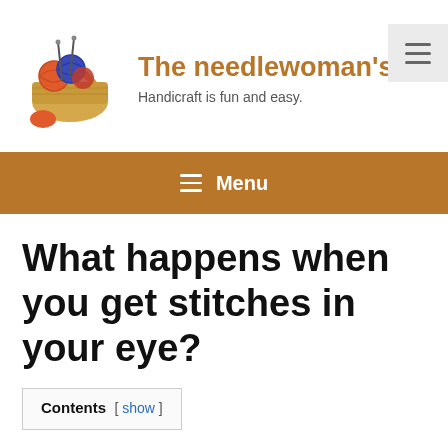[Figure (logo): A sewing/craft basket with colorful yarn balls and knitting needles, used as the website logo]
The needlewoman's d
Handicraft is fun and easy.
≡ Menu
What happens when you get stitches in your eye?
Contents [ show ]